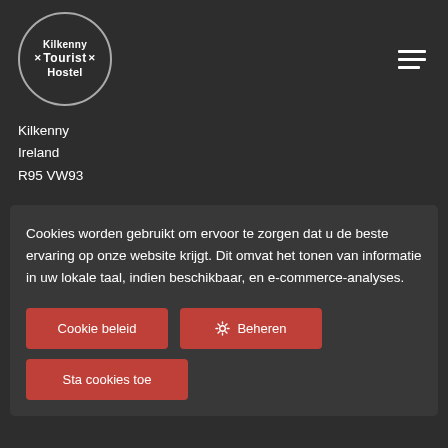[Figure (logo): Kilkenny Tourist Hostel circular logo with white text on dark background]
Kilkenny
Ireland
R95 VW93
Cookies worden gebruikt om ervoor te zorgen dat u de beste ervaring op onze website krijgt. Dit omvat het tonen van informatie in uw lokale taal, indien beschikbaar, en e-commerce-analyses.
Cookie beleid
Beheren
Sta cookies toe